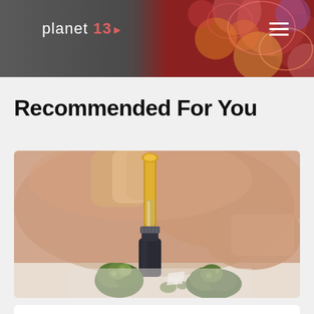planet 13 ≡
Recommended For You
[Figure (photo): Close-up photo of a person's hand holding a golden dropper bottle above a small dark glass tincture bottle, with green cannabis buds scattered on a white surface in the foreground.]
Information